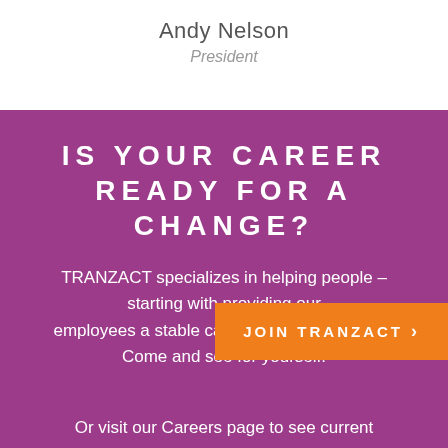Andy Nelson
President
IS YOUR CAREER READY FOR A CHANGE?
TRANZACT specializes in helping people – starting with providing our employees a stable career and solid benefits. Come and see for yourself!
JOIN TRANZACT ›
Or visit our Careers page to see current